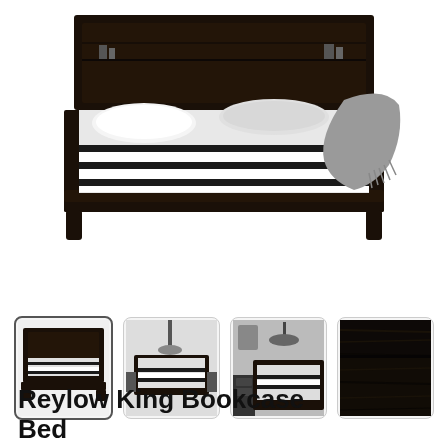[Figure (photo): Main product photo of a dark espresso wood king bookcase bed with black and white striped bedding and a gray throw blanket, photographed from a front-angled view against a white background]
[Figure (photo): Thumbnail 1 (selected): Front view of Reylow King Bookcase Bed with black and white striped bedding]
[Figure (photo): Thumbnail 2: Wider room view of the Reylow King Bookcase Bed with bedroom setting]
[Figure (photo): Thumbnail 3: Room lifestyle photo showing the bed in a full bedroom setting]
[Figure (photo): Thumbnail 4: Close-up detail of the dark espresso wood finish on the bed frame]
Reylow King Bookcase Bed